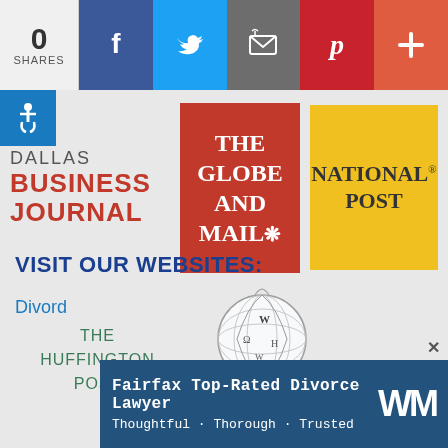[Figure (infographic): Social sharing bar with 0 shares count, and social media buttons: Facebook (blue), Twitter (light blue), Email (grey), Pinterest (red), Plus (salmon/red)]
[Figure (logo): Accessibility icon - white wheelchair symbol on blue background]
[Figure (logo): Dallas Business Journal logo - grey DALLAS text above bold red BUSINESS JOURNAL]
[Figure (logo): The Globe and Mail logo - white serif text on red background]
[Figure (logo): National Post logo - serif text on yellow background with registered trademark symbol]
[Figure (logo): The Huffington Post logo - teal/green spaced text]
[Figure (logo): Wikipedia logo - globe with letters and Wikipedia The Free Encyclopedia text]
VISIT OUR WEBSITES:
Divord
[Figure (infographic): Advertisement overlay: Fairfax Top-Rated Divorce Lawyer, Thoughtful · Thorough · Trusted, with WM logo, on dark blue background with X close button]